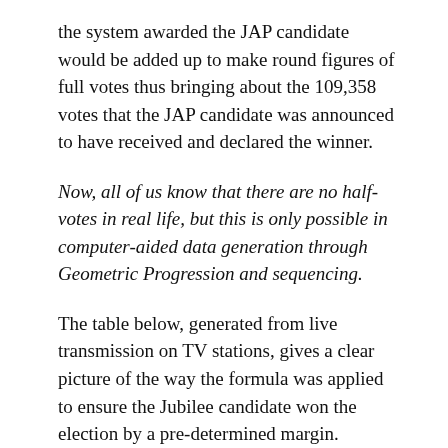the system awarded the JAP candidate would be added up to make round figures of full votes thus bringing about the 109,358 votes that the JAP candidate was announced to have received and declared the winner.
Now, all of us know that there are no half-votes in real life, but this is only possible in computer-aided data generation through Geometric Progression and sequencing.
The table below, generated from live transmission on TV stations, gives a clear picture of the way the formula was applied to ensure the Jubilee candidate won the election by a pre-determined margin.